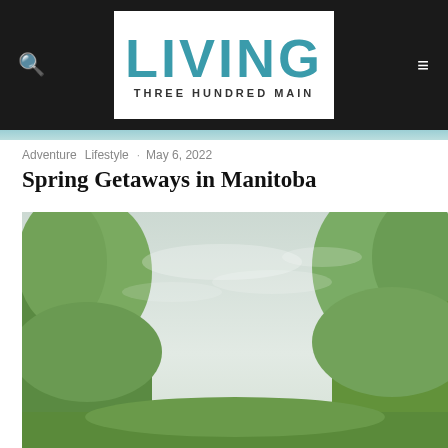LIVING THREE HUNDRED MAIN
Adventure · Lifestyle · May 6, 2022
Spring Getaways in Manitoba
[Figure (photo): Outdoor landscape photo showing green trees framing a pale overcast sky, suggesting a spring nature scene in Manitoba]